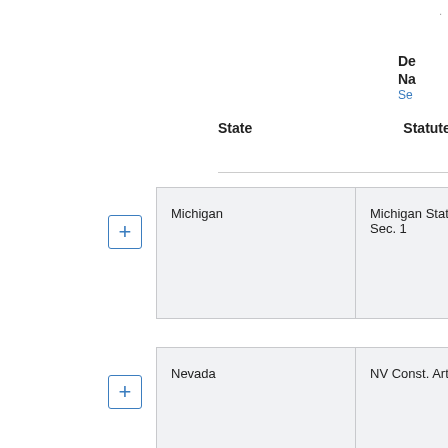| State | Statute | De Na Se |
| --- | --- | --- |
| Michigan | Michigan State Constitution Article VI Sec. 1 | M C V |
| Nevada | NV Const. Article 6, Sec. 1 | J v s |